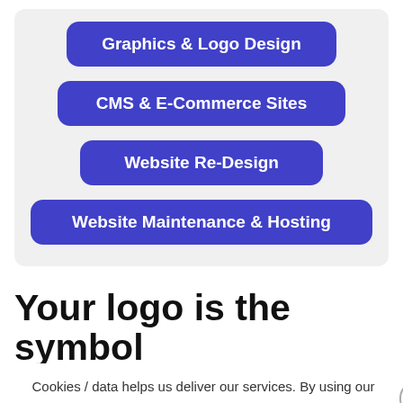Graphics & Logo Design
CMS & E-Commerce Sites
Website Re-Design
Website Maintenance & Hosting
Your logo is the symbol of your business
Cookies / data helps us deliver our services. By using our services, you agree to our use of cookies / data. Learn more   Got it
So make sure it's a